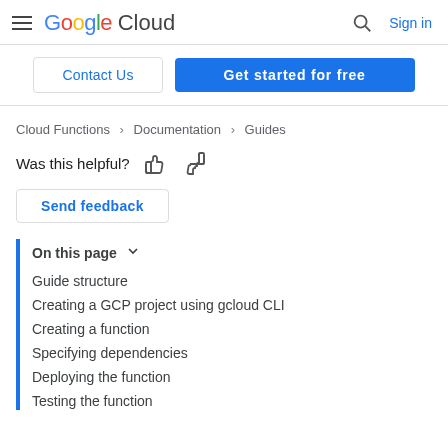Google Cloud  Sign in
Contact Us   Get started for free
Cloud Functions > Documentation > Guides
Was this helpful?
Send feedback
On this page
Guide structure
Creating a GCP project using gcloud CLI
Creating a function
Specifying dependencies
Deploying the function
Testing the function